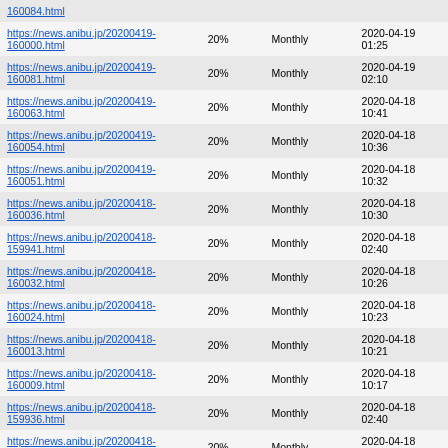| URL | Priority | Change Frequency | Last Modified |
| --- | --- | --- | --- |
| https://news.anibu.jp/20200419-160084.html (partial) |  |  |  |
| https://news.anibu.jp/20200419-160000.html | 20% | Monthly | 2020-04-19 01:25 |
| https://news.anibu.jp/20200419-160081.html | 20% | Monthly | 2020-04-19 02:10 |
| https://news.anibu.jp/20200419-160063.html | 20% | Monthly | 2020-04-18 10:41 |
| https://news.anibu.jp/20200419-160054.html | 20% | Monthly | 2020-04-18 10:36 |
| https://news.anibu.jp/20200419-160051.html | 20% | Monthly | 2020-04-18 10:32 |
| https://news.anibu.jp/20200418-160036.html | 20% | Monthly | 2020-04-18 10:30 |
| https://news.anibu.jp/20200418-159941.html | 20% | Monthly | 2020-04-18 02:40 |
| https://news.anibu.jp/20200418-160032.html | 20% | Monthly | 2020-04-18 10:26 |
| https://news.anibu.jp/20200418-160024.html | 20% | Monthly | 2020-04-18 10:23 |
| https://news.anibu.jp/20200418-160013.html | 20% | Monthly | 2020-04-18 10:21 |
| https://news.anibu.jp/20200418-160009.html | 20% | Monthly | 2020-04-18 10:17 |
| https://news.anibu.jp/20200418-159936.html | 20% | Monthly | 2020-04-18 02:40 |
| https://news.anibu.jp/20200418-159996.html | 20% | Monthly | 2020-04-18 06:27 |
| https://news.anibu.jp/20200418-159993.html | 20% | Monthly | 2020-04-18 06:22 |
| https://news.anibu.jp/20200418-159990.html | 20% | Monthly | 2020-04-18 06:10 |
| https://news.anibu.jp/20200418-159XXX.html (partial) | 20% | Monthly | 2020-04-18 02:39 |